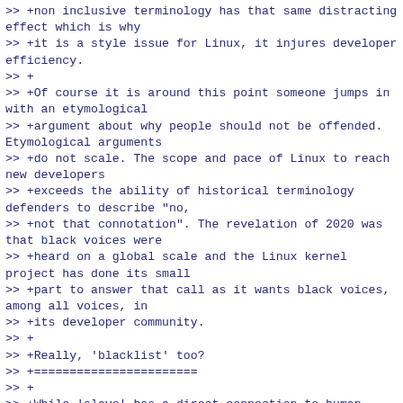>> +non inclusive terminology has that same distracting effect which is why
>> +it is a style issue for Linux, it injures developer efficiency.
>> +
>> +Of course it is around this point someone jumps in with an etymological
>> +argument about why people should not be offended. Etymological arguments
>> +do not scale. The scope and pace of Linux to reach new developers
>> +exceeds the ability of historical terminology defenders to describe "no,
>> +not that connotation". The revelation of 2020 was that black voices were
>> +heard on a global scale and the Linux kernel project has done its small
>> +part to answer that call as it wants black voices, among all voices, in
>> +its developer community.
>> +
>> +Really, 'blacklist' too?
>> +=======================
>> +
>> +While 'slave' has a direct connection to human suffering the etymology
>> +of 'blacklist' is devoid of a historical racial connection. However, one
>> +thought exercise is to consider replacing 'blacklist/whitelist' with
>> +'redlist/greenlist'. Realize that the replacement